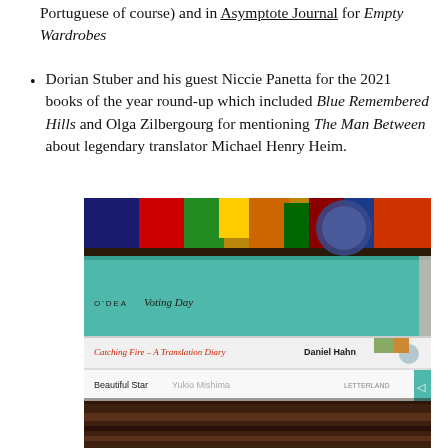Portuguese of course) and in Asymptote Journal for Empty Wardrobes
Dorian Stuber and his guest Niccie Panetta for the 2021 books of the year round-up which included Blue Remembered Hills and Olga Zilbergourg for mentioning The Man Between about legendary translator Michael Henry Heim.
[Figure (photo): A stack of three books photographed on a colorful patterned fabric background. The books visible are: top book with teal/turquoise cover (O'Dea - Voting Day), middle book (Catching Fire – A Translation Diary by Daniel Hahn), and bottom book (Beautiful Star by Yukio Mishima). The background shows bright candy-colored fabrics with characters.]